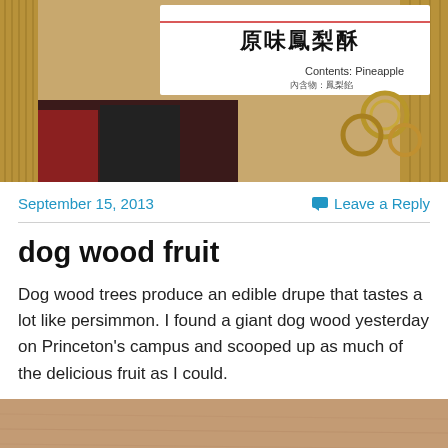[Figure (photo): Photo of a Taiwanese pineapple cake display sign with Chinese characters '原味鳳梨酥' and 'Contents: Pineapple' text, with key rings and wicker basket background]
September 15, 2013
Leave a Reply
dog wood fruit
Dog wood trees produce an edible drupe that tastes a lot like persimmon. I found a giant dog wood yesterday on Princeton's campus and scooped up as much of the delicious fruit as I could.
[Figure (photo): Close-up photo of what appears to be a hand or skin surface, brownish/peach toned]